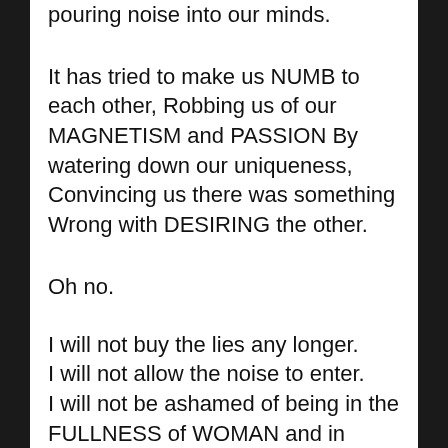pouring noise into our minds.
It has tried to make us NUMB to each other, Robbing us of our MAGNETISM and PASSION By watering down our uniqueness, Convincing us there was something Wrong with DESIRING the other.
Oh no.
I will not buy the lies any longer.
I will not allow the noise to enter.
I will not be ashamed of being in the FULLNESS of WOMAN and in DEEP DESIRE of the Masculine.